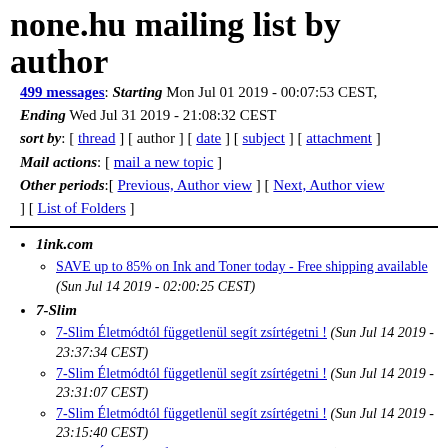none.hu mailing list by author
499 messages: Starting Mon Jul 01 2019 - 00:07:53 CEST, Ending Wed Jul 31 2019 - 21:08:32 CEST
sort by: [ thread ] [ author ] [ date ] [ subject ] [ attachment ]
Mail actions: [ mail a new topic ]
Other periods:[ Previous, Author view ] [ Next, Author view ] [ List of Folders ]
1ink.com
SAVE up to 85% on Ink and Toner today - Free shipping available (Sun Jul 14 2019 - 02:00:25 CEST)
7-Slim
7-Slim Életmódtól függetlenül segít zsírtégetni ! (Sun Jul 14 2019 - 23:37:34 CEST)
7-Slim Életmódtól függetlenül segít zsírtégetni ! (Sun Jul 14 2019 - 23:31:07 CEST)
7-Slim Életmódtól függetlenül segít zsírtégetni ! (Sun Jul 14 2019 - 23:15:40 CEST)
7-Slim Életmódtól függetlenül segít zsírtégetni ! (Sun Jul 14 2019 - 22:45:26 CEST)
Adorján